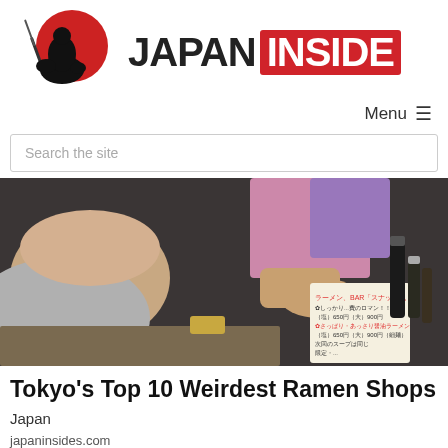[Figure (logo): Japan Inside logo: samurai illustration with red circle on left, 'JAPAN' in black bold text and 'INSIDE' in white bold text on red background on right]
Menu ≡
Search the site
[Figure (photo): Photo of a man eating ramen at a bar, Japanese menu sign visible with red text showing ramen prices, bottles on table, woman in background]
Tokyo's Top 10 Weirdest Ramen Shops
Japan
japaninsides.com